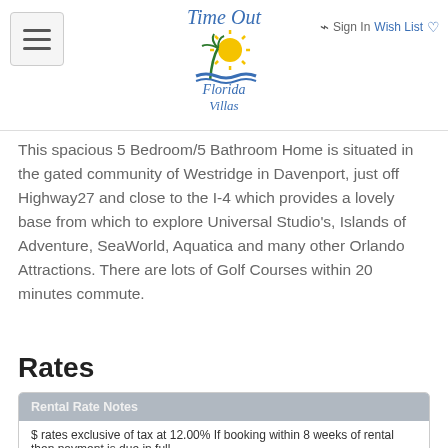Time Out Florida Villas — Sign In Wish List
This spacious 5 Bedroom/5 Bathroom Home is situated in the gated community of Westridge in Davenport, just off Highway27 and close to the I-4 which provides a lovely base from which to explore Universal Studio's, Islands of Adventure, SeaWorld, Aquatica and many other Orlando Attractions. There are lots of Golf Courses within 20 minutes commute.
Rates
| Rental Rate Notes |
| --- |
| $ rates exclusive of tax at 12.00% If booking within 8 weeks of rental then payment is due in full |